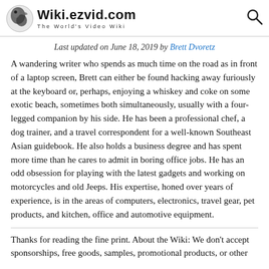Wiki.ezvid.com — The World's Video Wiki
Last updated on June 18, 2019 by Brett Dvoretz
A wandering writer who spends as much time on the road as in front of a laptop screen, Brett can either be found hacking away furiously at the keyboard or, perhaps, enjoying a whiskey and coke on some exotic beach, sometimes both simultaneously, usually with a four-legged companion by his side. He has been a professional chef, a dog trainer, and a travel correspondent for a well-known Southeast Asian guidebook. He also holds a business degree and has spent more time than he cares to admit in boring office jobs. He has an odd obsession for playing with the latest gadgets and working on motorcycles and old Jeeps. His expertise, honed over years of experience, is in the areas of computers, electronics, travel gear, pet products, and kitchen, office and automotive equipment.
Thanks for reading the fine print. About the Wiki: We don't accept sponsorships, free goods, samples, promotional products, or other